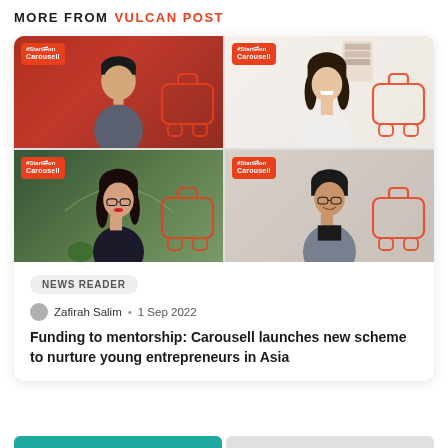MORE FROM VULCAN POST
[Figure (photo): A 2x2 grid of four people, each with a #StartOnCarousell badge and camera-shaped outline graphic. Top-left: young Asian man in grey shirt against red background. Top-right: young Asian woman smiling against light background. Bottom-left: Asian woman wearing glasses against green garden background. Bottom-right: Asian man wearing glasses in grey jacket against light background.]
NEWS READER
Zafirah Salim • 1 Sep 2022
Funding to mentorship: Carousell launches new scheme to nurture young entrepreneurs in Asia